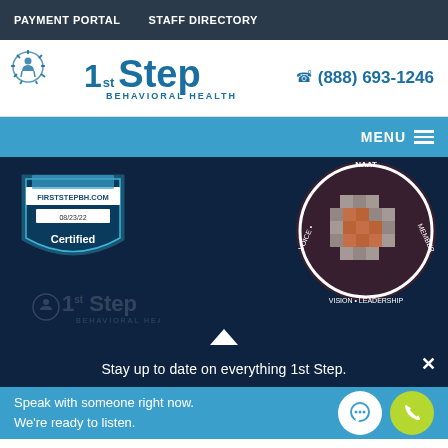PAYMENT PORTAL   STAFF DIRECTORY
[Figure (logo): 1st Step Behavioral Health logo with sun/person icon and phone number (888) 693-1246]
MENU
[Figure (logo): FIRSTSTEPBH.COM certified badge dated 08/23/22]
[Figure (logo): NAATB member badge - Voice Vision Leadership circular seal with geometric pattern]
[Figure (logo): 1st Step Behavioral Health watermark logo (faded) in dark background]
Stay up to date on everything 1st Step.
Speak with someone right now.
We're ready to listen.